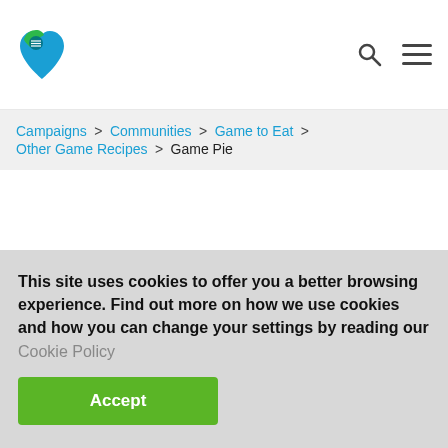Navigation header with logo and search/menu icons
Campaigns > Communities > Game to Eat > Other Game Recipes > Game Pie
This site uses cookies to offer you a better browsing experience. Find out more on how we use cookies and how you can change your settings by reading our Cookie Policy
Accept